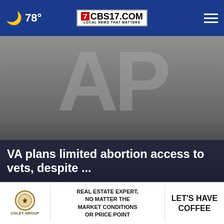78° CBS17.COM LOCAL NEWS THAT MATTERS
[Figure (photo): AP (Associated Press) logo large grey letters on dark gradient background serving as hero image]
VA plans limited abortion access to vets, despite ...
[Figure (photo): Left video thumbnail showing dark scene with luggage/bags, play button in corner]
[Figure (photo): Right video thumbnail showing woman near window outdoors, play button in corner, close X button]
61 s... 7 seconds in... COVID-19
[Figure (infographic): Advertisement banner: COLEY GROUP logo, REAL ESTATE EXPERT, NO MATTER THE MARKET CONDITIONS OR PRICE POINT, LET'S HAVE COFFEE]